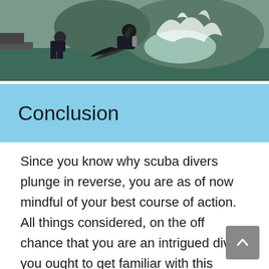[Figure (photo): A scuba diver in a wetsuit performing a backward roll entry into dark green water from a dock, with water splashing dramatically. A lake and hills visible in the background. Another person seated on the dock.]
Conclusion
Since you know why scuba divers plunge in reverse, you are as of now mindful of your best course of action. All things considered, on the off chance that you are an intrigued diver, you ought to get familiar with this diving strategy. Along these lines, you will